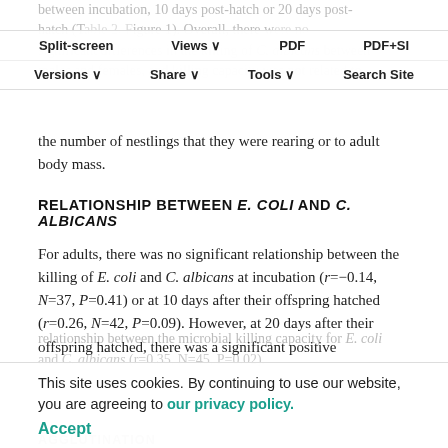between incubation, 10 days post-hatch or 20 days post-hatch (Table 2, Figure 1). Overall, there were no significant differences in the killing of C. albicans between males and females, and killing capacity was not related to the number of nestlings that they were rearing or to adult body mass.
Split-screen  Views  PDF  PDF+SI  Versions  Share  Tools  Search Site
RELATIONSHIP BETWEEN E. COLI AND C. ALBICANS
For adults, there was no significant relationship between the killing of E. coli and C. albicans at incubation (r=−0.14, N=37, P=0.41) or at 10 days after their offspring hatched (r=0.26, N=42, P=0.09). However, at 20 days after their offspring hatched, there was a significant positive relationship between the microbial killing capacity for E. coli and C. albicans (r=0.35, N=45, P=0.02).
This site uses cookies. By continuing to use our website, you are agreeing to our privacy policy. Accept
AGGLUTINATION